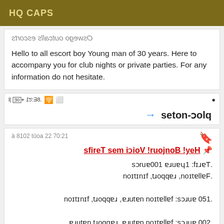HQ CAPS
Oswego outcalls escorts
Hello to all escort boy Young man of 30 years. Here to accompany you for club nights or private parties. For any information do not hesitate.
[Figure (screenshot): Mirrored screenshot showing a mobile status bar with time 15:38, wifi, signal icons, and a notepad app header reading 'Bloc-notes' with a blue arrow]
[Figure (screenshot): Mirrored screenshot showing a bookmarked note dated 22 août 2018 à 12:07 with heading 'Hey! Bonjour! Voici mes tarifs' and pricing details: Tarif: 1heure 100euros. Fellation, rapport, finition. 150 euros: fellation nature, rapport, finition. 200 euros: fellation nature, rapport nature,]